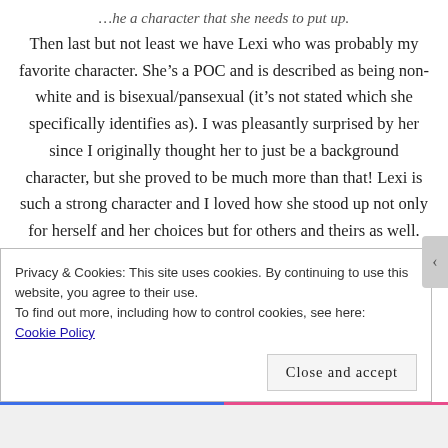…he a character that she needs to put up.
Then last but not least we have Lexi who was probably my favorite character. She's a POC and is described as being non-white and is bisexual/pansexual (it's not stated which she specifically identifies as). I was pleasantly surprised by her since I originally thought her to just be a background character, but she proved to be much more than that! Lexi is such a strong character and I loved how she stood up not only for herself and her choices but for others and theirs as well. There are a few scenes that really resonated with
Privacy & Cookies: This site uses cookies. By continuing to use this website, you agree to their use.
To find out more, including how to control cookies, see here: Cookie Policy
Close and accept